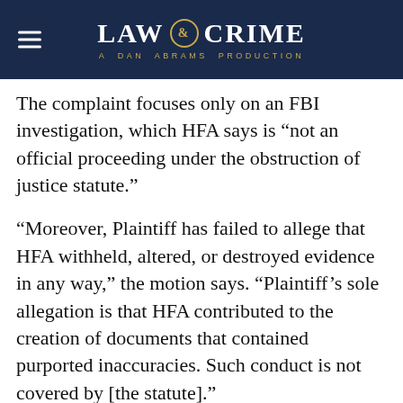LAW & CRIME — A DAN ABRAMS PRODUCTION
The complaint focuses only on an FBI investigation, which HFA says is “not an official proceeding under the obstruction of justice statute.”
“Moreover, Plaintiff has failed to allege that HFA withheld, altered, or destroyed evidence in any way,” the motion says. “Plaintiff’s sole allegation is that HFA contributed to the creation of documents that contained purported inaccuracies. Such conduct is not covered by [the statute].”
As to the racketeering claims, HFA argues that